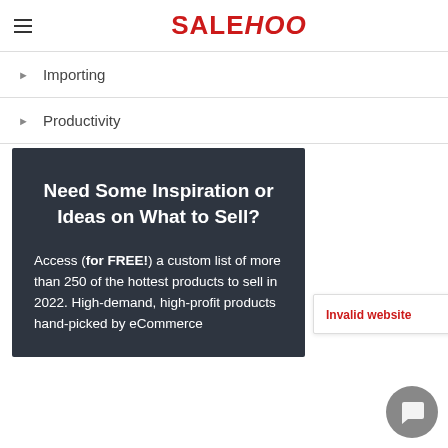SALEHOO
Importing
Productivity
[Figure (infographic): Dark gray promotional box with white text heading 'Need Some Inspiration or Ideas on What to Sell?' and body text 'Access (for FREE!) a custom list of more than 250 of the hottest products to sell in 2022. High-demand, high-profit products hand-picked by eCommerce']
Invalid website
[Figure (other): Gray circular chat/message button icon in bottom right corner]